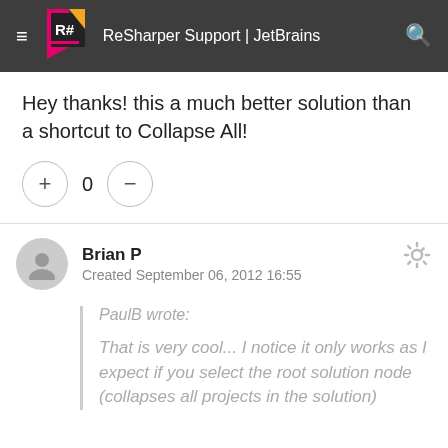ReSharper Support | JetBrains
Hey thanks! this a much better solution than a shortcut to Collapse All!
+ 0 −
Brian P
Created September 06, 2012 16:55
PaulB wrote:

That is very cool... I notice it only works as I expect if you select the root solution node (collapses all projects in the solution)